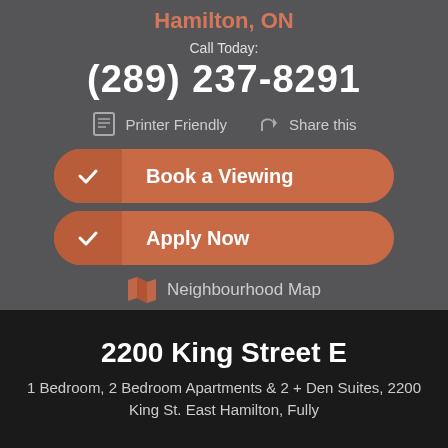Hamilton, ON
Call Today:
(289) 237-8291
Printer Friendly
Share this
Book a Viewing
Apply Now
Neighbourhood Map
2200 King Street E
1 Bedroom, 2 Bedroom Apartments & 2 + Den Suites, 2200 King St. East Hamilton, Fully